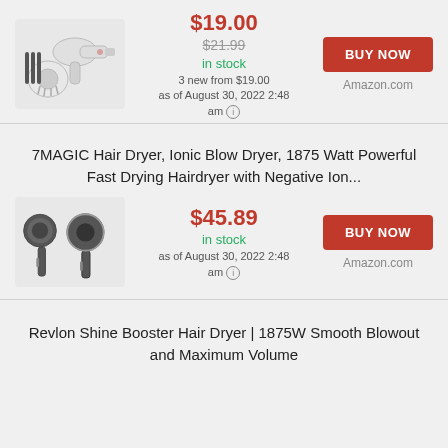[Figure (photo): Revlon hair dryer with diffuser attachment and styling accessories]
$19.00
$21.99 (strikethrough)
in stock
3 new from $19.00
as of August 30, 2022 2:48 am
BUY NOW
Amazon.com
7MAGIC Hair Dryer, Ionic Blow Dryer, 1875 Watt Powerful Fast Drying Hairdryer with Negative Ion...
[Figure (photo): 7MAGIC ionic hair dryer shown in two views, dark gray/black color]
$45.89
in stock
as of August 30, 2022 2:48 am
BUY NOW
Amazon.com
Revlon Shine Booster Hair Dryer | 1875W Smooth Blowout and Maximum Volume